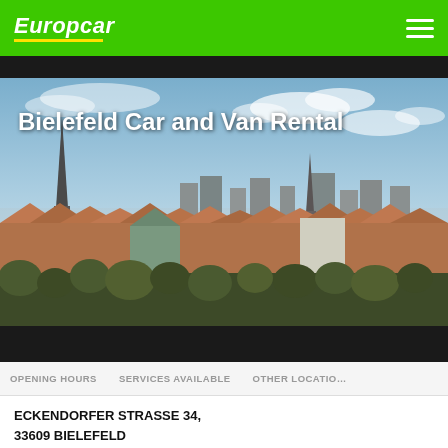Europcar
[Figure (photo): Aerial view of Bielefeld city skyline with church spires, red-roofed buildings, and trees in the foreground under a partly cloudy sky]
Bielefeld Car and Van Rental
OPENING HOURS   SERVICES AVAILABLE   OTHER LOCATIONS
ECKENDORFER STRASSE 34,
33609 BIELEFELD
DEUTSCHLAND